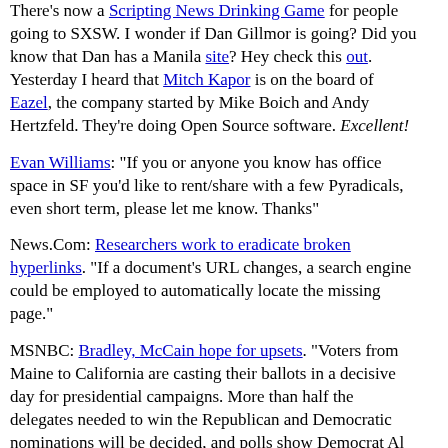There's now a Scripting News Drinking Game for people going to SXSW. I wonder if Dan Gillmor is going? Did you know that Dan has a Manila site? Hey check this out. Yesterday I heard that Mitch Kapor is on the board of Eazel, the company started by Mike Boich and Andy Hertzfeld. They're doing Open Source software. Excellent!
Evan Williams: "If you or anyone you know has office space in SF you'd like to rent/share with a few Pyradicals, even short term, please let me know. Thanks"
News.Com: Researchers work to eradicate broken hyperlinks. "If a document's URL changes, a search engine could be employed to automatically locate the missing page."
MSNBC: Bradley, McCain hope for upsets. "Voters from Maine to California are casting their ballots in a decisive day for presidential campaigns. More than half the delegates needed to win the Republican and Democratic nominations will be decided, and polls show Democrat Al Gore and Republican George W. Bush far ahead in nearly every race."
My.UserLand.Com: The FreeBSD Diary.